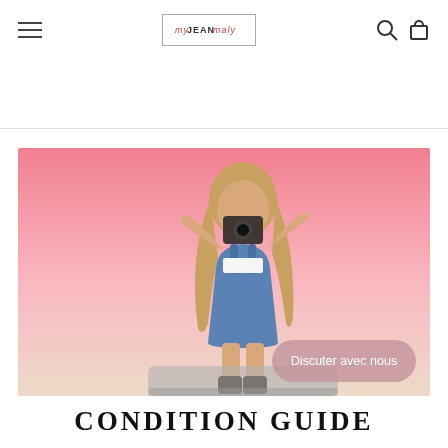Navigation bar with hamburger menu, logo, search and cart icons
[Figure (photo): A woman in denim overalls sitting on a grey couch against a pink background, holding a camera up to her face. The image is used as a hero banner on a fashion/retail website. A pink rounded button overlay reads 'Discuter avec nous'.]
CONDITION GUIDE